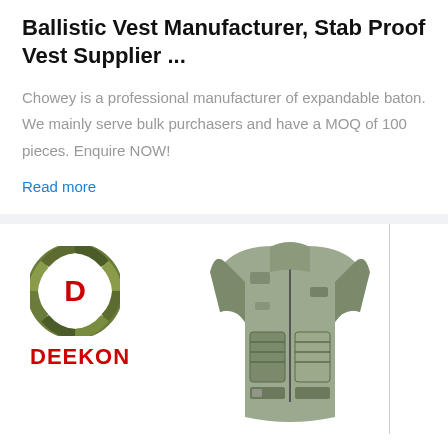Ballistic Vest Manufacturer, Stab Proof Vest Supplier ...
Chowey is a professional manufacturer of expandable baton. We mainly serve bulk purchasers and have a MOQ of 100 pieces. Enquire NOW!
Read more
[Figure (logo): DEEKON brand logo with circular camouflage emblem and red D letter, with DEEKON text in red below, alongside a tactical ballistic vest in camouflage pattern]